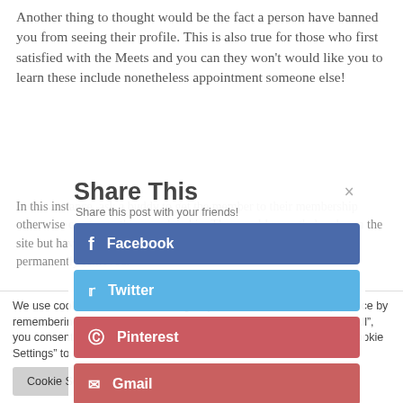Another thing to thought would be the fact a person have banned you from seeing their profile. This is also true for those who first satisfied with the Meets and you can they won't would like you to learn these include nonetheless appointment someone else!
In this instance, ask a buddy to get the member to their membership otherwise create another membership. They could nevertheless be on the site but have their profile undetectable. Or even, their account are permanently removed.
[Figure (infographic): Share This popup overlay with social sharing buttons: Facebook (blue), Twitter (light blue), Pinterest (red), Gmail (dark red/salmon), LinkedIn (light blue). Has a close X button and subtitle 'Share this post with your friends!']
We use cookies on our website to give you the most relevant experience by remembering your preferences and repeat visits. By clicking "Accept All", you consent to the use of ALL the cookies. However, you may visit "Cookie Settings" to provide a controlled consent.